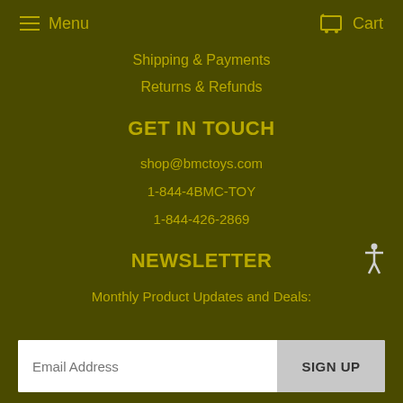Menu  Cart
Shipping & Payments
Returns & Refunds
GET IN TOUCH
shop@bmctoys.com
1-844-4BMC-TOY
1-844-426-2869
NEWSLETTER
Monthly Product Updates and Deals:
Email Address  SIGN UP